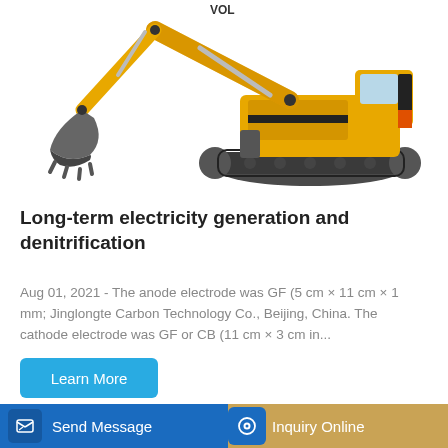[Figure (photo): Yellow VOLVO (partially visible brand) large hydraulic excavator with extended arm and bucket, on tracked undercarriage, white background]
Long-term electricity generation and denitrification
Aug 01, 2021 - The anode electrode was GF (5 cm × 11 cm × 1 mm; Jinglongte Carbon Technology Co., Beijing, China. The cathode electrode was GF or CB (11 cm × 3 cm in...
Learn More
Send Message
Inquiry Online